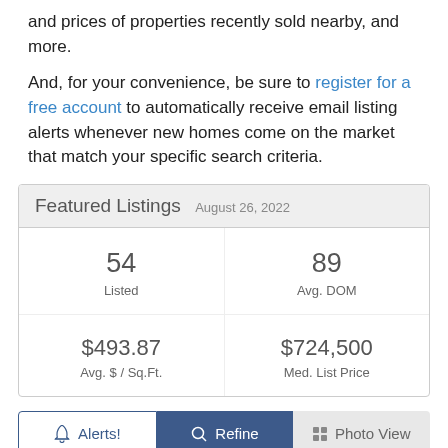and prices of properties recently sold nearby, and more.
And, for your convenience, be sure to register for a free account to automatically receive email listing alerts whenever new homes come on the market that match your specific search criteria.
| Featured Listings August 26, 2022 |
| --- |
| 54
Listed | 89
Avg. DOM |
| $493.87
Avg. $ / Sq.Ft. | $724,500
Med. List Price |
Alerts! | Refine | Photo View